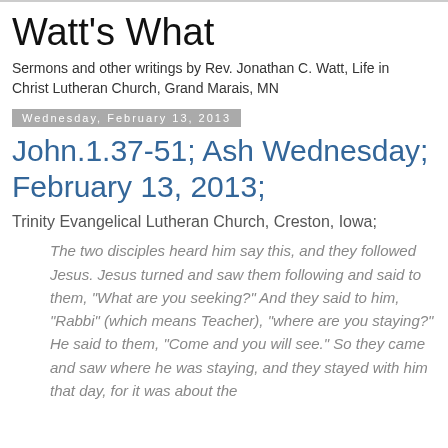Watt's What
Sermons and other writings by Rev. Jonathan C. Watt, Life in Christ Lutheran Church, Grand Marais, MN
Wednesday, February 13, 2013
John.1.37-51; Ash Wednesday; February 13, 2013;
Trinity Evangelical Lutheran Church, Creston, Iowa;
The two disciples heard him say this, and they followed Jesus. Jesus turned and saw them following and said to them, “What are you seeking?” And they said to him, “Rabbi” (which means Teacher), “where are you staying?” He said to them, “Come and you will see.” So they came and saw where he was staying, and they stayed with him that day, for it was about the